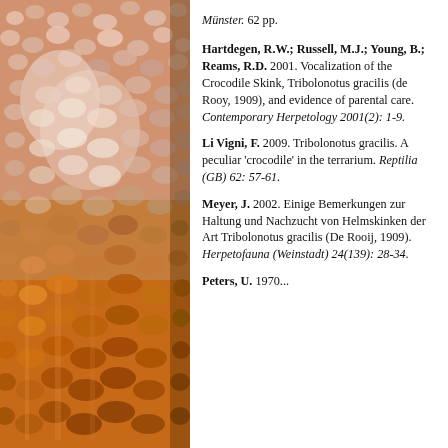[Figure (photo): Close-up photograph of reptile scales, showing textured orange, brown, and white scaly skin of what appears to be a Tribolonotus gracilis (crocodile skink).]
Münster. 62 pp.
Hartdegen, R.W.; Russell, M.J.; Young, B.; Reams, R.D. 2001. Vocalization of the Crocodile Skink, Tribolonotus gracilis (de Rooy, 1909), and evidence of parental care. Contemporary Herpetology 2001(2): 1-9.
Li Vigni, F. 2009. Tribolonotus gracilis. A peculiar 'crocodile' in the terrarium. Reptilia (GB) 62: 57-61.
Meyer, J. 2002. Einige Bemerkungen zur Haltung und Nachzucht von Helmskinken der Art Tribolonotus gracilis (De Rooij, 1909). Herpetofauna (Weinstadt) 24(139): 28-34.
Peters, U. 1970...